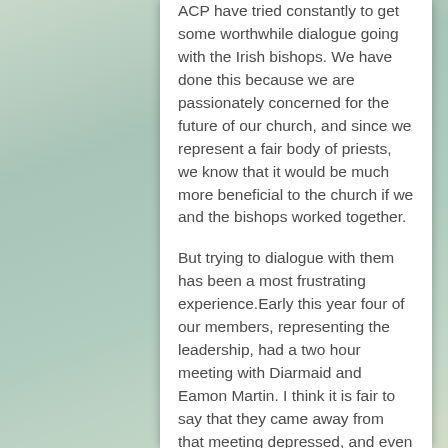ACP have tried constantly to get some worthwhile dialogue going with the Irish bishops. We have done this because we are passionately concerned for the future of our church, and since we represent a fair body of priests, we know that it would be much more beneficial to the church if we and the bishops worked together.
But trying to dialogue with them has been a most frustrating experience.Early this year four of our members, representing the leadership, had a two hour meeting with Diarmaid and Eamon Martin. I think it is fair to say that they came away from that meeting depressed, and even angry, at the futility of it all. And that was compounded by a letter that arrived later, telling us that in future any meetings would be with a lesser